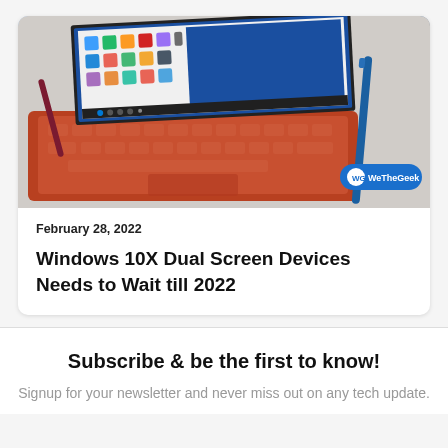[Figure (photo): Photo of a Microsoft Surface Pro tablet with red/orange keyboard cover and blue stylus pen, showing Windows 11 Start menu on screen. WeTheGeek watermark badge in bottom right.]
February 28, 2022
Windows 10X Dual Screen Devices Needs to Wait till 2022
Subscribe & be the first to know!
Signup for your newsletter and never miss out on any tech update.